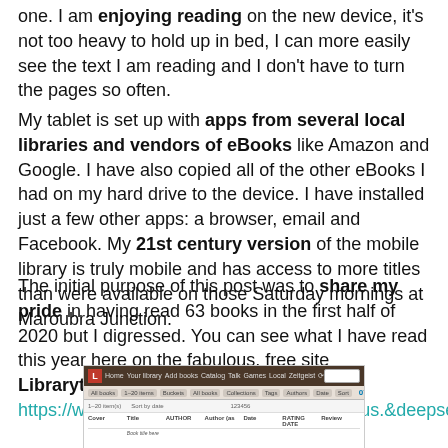one. I am enjoying reading on the new device, it's not too heavy to hold up in bed, I can more easily see the text I am reading and I don't have to turn the pages so often.
My tablet is set up with apps from several local libraries and vendors of eBooks like Amazon and Google. I have also copied all of the other eBooks I had on my hard drive to the device. I have installed just a few other apps: a browser, email and Facebook. My 21st century version of the mobile library is truly mobile and has access to more titles than were available on those Saturday mornings at Maroubra Junction.
The initial purpose of this post was to share my pride in having read 63 books in the first half of 2020 but I digressed. You can see what I have read this year here on the fabulous, free site Librarything https://www.librarything.com/catalog/GeniAus.&deepsearch=read+2020.
[Figure (screenshot): Screenshot of Librarything website showing a catalog listing page with a dark brown navigation bar, toolbar with filter options, and a table of books read.]